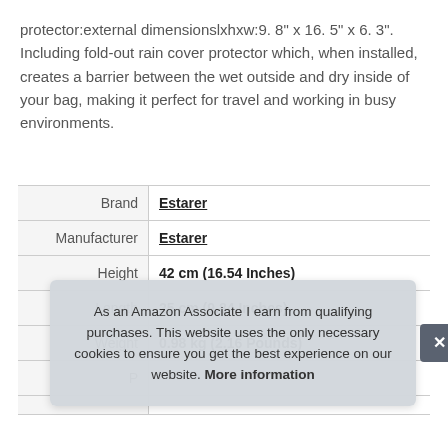protector:external dimensionslxhxw:9. 8" x 16. 5" x 6. 3". Including fold-out rain cover protector which, when installed, creates a barrier between the wet outside and dry inside of your bag, making it perfect for travel and working in busy environments.
|  |  |
| --- | --- |
| Brand | Estarer |
| Manufacturer | Estarer |
| Height | 42 cm (16.54 Inches) |
| Length | 25 cm (9.84 Inches) |
| Weight | 0.98 kg (2.16 Pounds) |
| P |  |
As an Amazon Associate I earn from qualifying purchases. This website uses the only necessary cookies to ensure you get the best experience on our website. More information